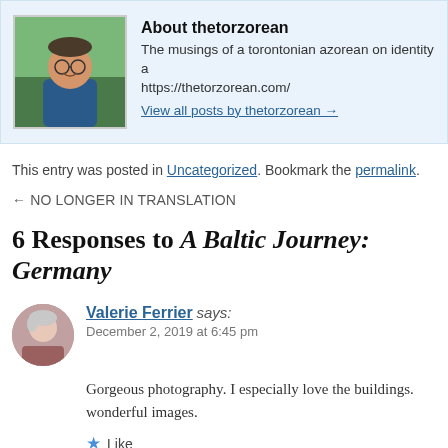[Figure (photo): Author photo of thetorzorean — a man with glasses smiling outdoors]
About thetorzorean
The musings of a torontonian azorean on identity a…
https://thetorzorean.com/
View all posts by thetorzorean →
This entry was posted in Uncategorized. Bookmark the permalink.
← NO LONGER IN TRANSLATION
6 Responses to A Baltic Journey: Germany
[Figure (photo): Commenter avatar photo of Valerie Ferrier]
Valerie Ferrier says:
December 2, 2019 at 6:45 pm
Gorgeous photography. I especially love the buildings. wonderful images.
★ Like
Reply